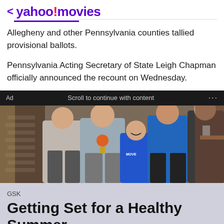< yahoo!movies
Allegheny and other Pennsylvania counties tallied provisional ballots.
Pennsylvania Acting Secretary of State Leigh Chapman officially announced the recount on Wednesday.
Ad   Scroll to continue with content   ...
[Figure (photo): Group of people standing together indoors, including a child in a blue shirt and others in casual clothing]
GSK
Getting Set for a Healthy Summer